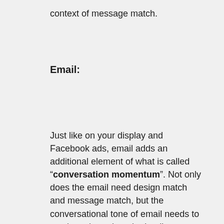context of message match.
Email:
Just like on your display and Facebook ads, email adds an additional element of what is called “conversation momentum”. Not only does the email need design match and message match, but the conversational tone of email needs to continue through to the landing page. If you are being silly on the email, then you can’t change your tone to all business on the landing page. Your customer